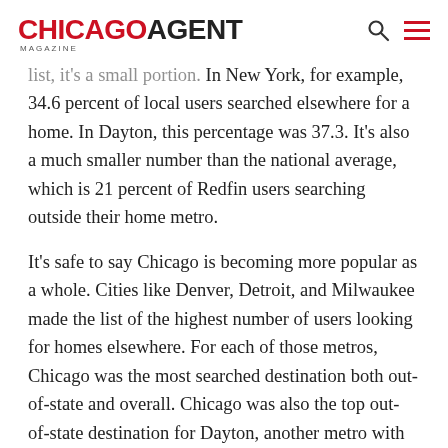CHICAGO AGENT MAGAZINE
list, it's a small portion. In New York, for example, 34.6 percent of local users searched elsewhere for a home. In Dayton, this percentage was 37.3. It's also a much smaller number than the national average, which is 21 percent of Redfin users searching outside their home metro.
It's safe to say Chicago is becoming more popular as a whole. Cities like Denver, Detroit, and Milwaukee made the list of the highest number of users looking for homes elsewhere. For each of those metros, Chicago was the most searched destination both out-of-state and overall. Chicago was also the top out-of-state destination for Dayton, another metro with one of the largest net